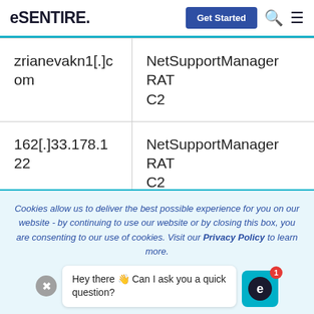eSENTIRE — Get Started
| zrianevakn1[.]com | NetSupportManager RAT C2 |
| 162[.]33.178.122 | NetSupportManager RAT C2 |
| 115[.]1...31.255... | Chrom... Exten... |
Cookies allow us to deliver the best possible experience for you on our website - by continuing to use our website or by closing this box, you are consenting to our use of cookies. Visit our Privacy Policy to learn more.
Hey there 👋 Can I ask you a quick question?